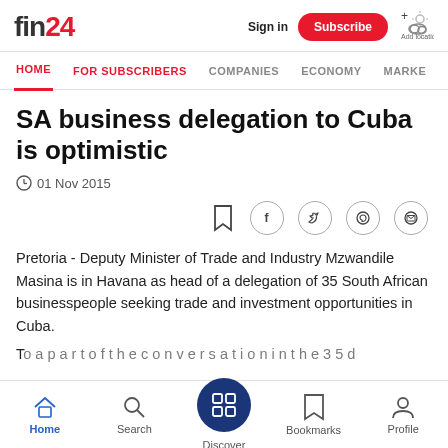fin24
HOME  FOR SUBSCRIBERS  COMPANIES  ECONOMY  MARKE
SA business delegation to Cuba is optimistic
01 Nov 2015
Pretoria - Deputy Minister of Trade and Industry Mzwandile Masina is in Havana as head of a delegation of 35 South African businesspeople seeking trade and investment opportunities in Cuba.
Home  Search  Discover  Bookmarks  Profile